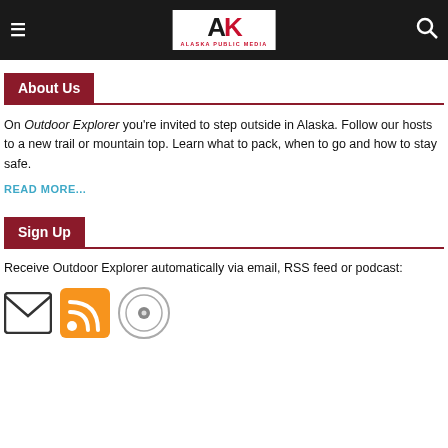Alaska Public Media
About Us
On Outdoor Explorer you're invited to step outside in Alaska. Follow our hosts to a new trail or mountain top. Learn what to pack, when to go and how to stay safe.
READ MORE...
Sign Up
Receive Outdoor Explorer automatically via email, RSS feed or podcast:
[Figure (illustration): Three icons: email envelope, RSS feed (orange), and podcast microphone]